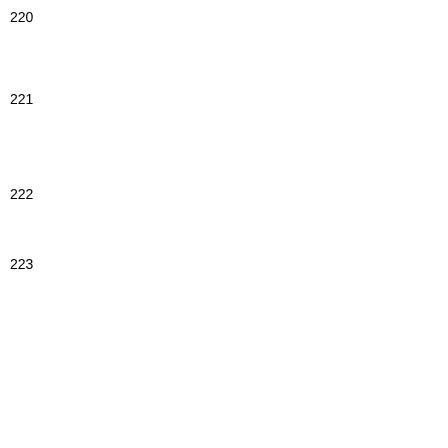220
15 Saxe-Coburg and... Maud Mary (1843-0... 14)
221
16 of Hesse and ... Victoria Alberta (1863-04-05 - 19...
222
17 of Battenb... (1885-02-25 ...
223
18 Mount... Duke of B... 06-10 - 20...
19 Mo... Winds... Philip (1948-... line 12...
19 Mo... Winds... Elizab... (1950-... line 13...
19 Mo... Winds... Albert... Edwar...